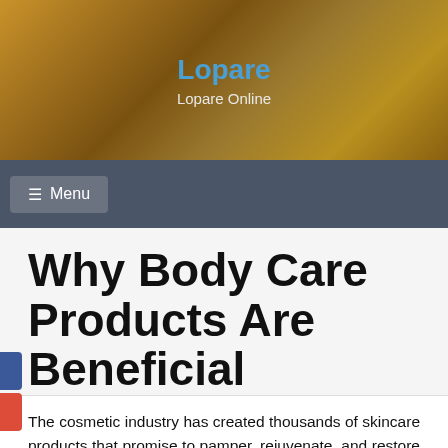Lopare
Lopare Online
[Figure (screenshot): Website navigation bar with hamburger menu icon and Menu text on dark gray background]
Why Body Care Products Are Beneficial
December 26, 2020   Leigh Valdez
The cosmetic industry has created thousands of skincare products that promise to pamper, rejuvenate, and restore your skin. Millions of dollars have been spent on advertising campaigns to